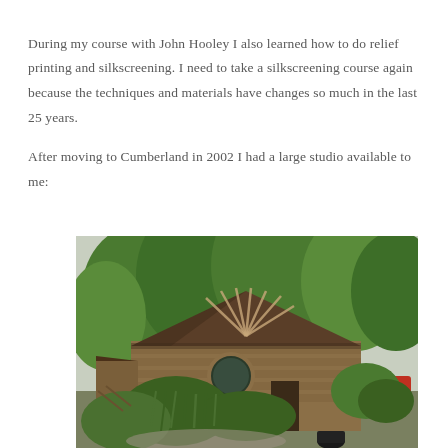During my course with John Hooley I also learned how to do relief printing and silkscreening. I need to take a silkscreening course again because the techniques and materials have changes so much in the last 25 years.
After moving to Cumberland in 2002 I had a large studio available to me:
[Figure (photo): Exterior photo of a rustic wooden studio cabin surrounded by lush green trees and vegetation. The cabin has a distinctive peaked roof with fan-like wood detailing, a round window, and weathered cedar shingle siding. Dense greenery and shrubs surround the building.]